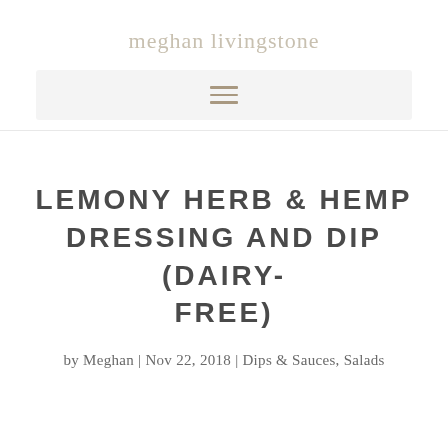meghan livingstone
[Figure (other): Navigation bar with hamburger menu icon (three horizontal lines) on light grey background]
LEMONY HERB & HEMP DRESSING AND DIP (DAIRY-FREE)
by Meghan | Nov 22, 2018 | Dips & Sauces, Salads